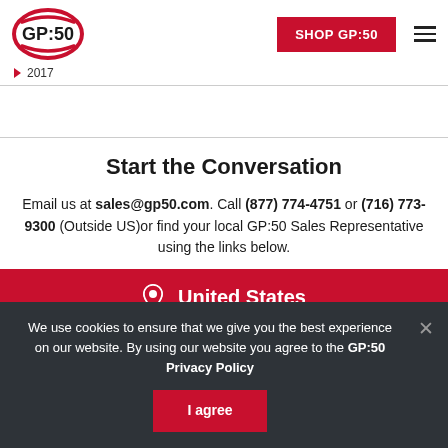GP:50 | SHOP GP:50
2017
Start the Conversation
Email us at sales@gp50.com. Call (877) 774-4751 or (716) 773-9300 (Outside US)or find your local GP:50 Sales Representative using the links below.
United States
We use cookies to ensure that we give you the best experience on our website. By using our website you agree to the GP:50 Privacy Policy
I agree